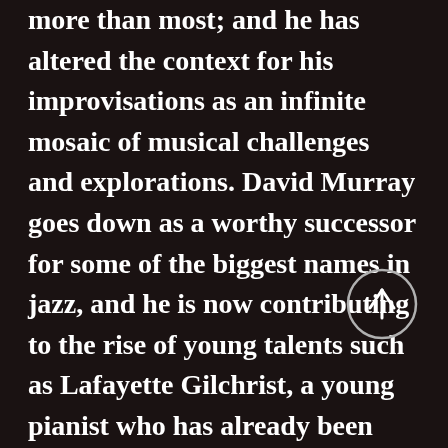more than most; and he has altered the context for his improvisations as an infinite mosaic of musical challenges and explorations. David Murray goes down as a worthy successor for some of the biggest names in jazz, and he is now contributing to the rise of young talents such as Lafayette Gilchrist, a young pianist who has already been widely acclaimed by the critics. "Be Bop and shut up! An impossible task for the young David, at the time of the free jazz
[Figure (other): A circular button with an upward-pointing arrow, outlined in light gray on a dark background]